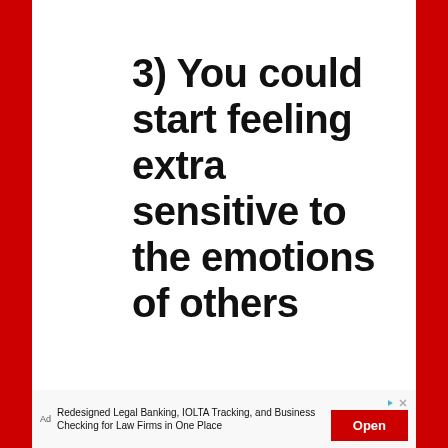3) You could start feeling extra sensitive to the emotions of others
Ad Redesigned Legal Banking, IOLTA Tracking, and Business Checking for Law Firms in One Place Open